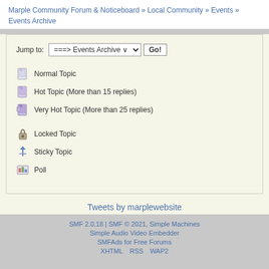Marple Community Forum & Noticeboard » Local Community » Events » Events Archive
Jump to: ===> Events Archive  Go!
Normal Topic
Hot Topic (More than 15 replies)
Very Hot Topic (More than 25 replies)
Locked Topic
Sticky Topic
Poll
Tweets by marplewebsite
SMF 2.0.18 | SMF © 2021, Simple Machines
Simple Audio Video Embedder
SMFAds for Free Forums
XHTML  RSS  WAP2